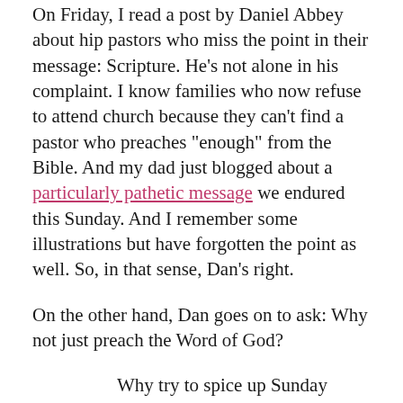On Friday, I read a post by Daniel Abbey about hip pastors who miss the point in their message: Scripture. He's not alone in his complaint. I know families who now refuse to attend church because they can't find a pastor who preaches "enough" from the Bible. And my dad just blogged about a particularly pathetic message we endured this Sunday. And I remember some illustrations but have forgotten the point as well. So, in that sense, Dan's right.
On the other hand, Dan goes on to ask: Why not just preach the Word of God?
Why try to spice up Sunday mornings with fleshly gimmicks and theatrical eye candy? [We don't need] clever devices or secular technique in reaching the lost and edifying believers. ...I can't tell you how much I loathe the idea that we need some